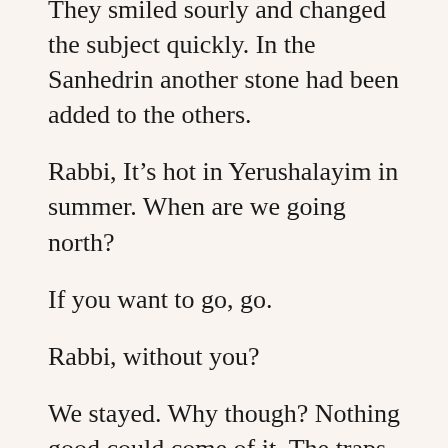They smiled sourly and changed the subject quickly. In the Sanhedrin another stone had been added to the others.
Rabbi, It’s hot in Yerushalayim in summer. When are we going north?
If you want to go, go.
Rabbi, without you?
We stayed. Why though? Nothing good could come of it. The traps were being set. Yeshua and some of our group, only men of course, were invited to dine with a